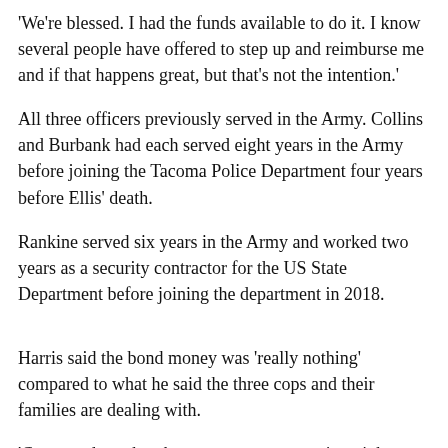'We're blessed. I had the funds available to do it. I know several people have offered to step up and reimburse me and if that happens great, but that's not the intention.'
All three officers previously served in the Army. Collins and Burbank had each served eight years in the Army before joining the Tacoma Police Department four years before Ellis' death.
Rankine served six years in the Army and worked two years as a security contractor for the US State Department before joining the department in 2018.
Harris said the bond money was 'really nothing' compared to what he said the three cops and their families are dealing with.
'Compared to what these guys were up against right now is really nothing. Their families are highly affected and their friends are highly affected and their department is highly affected,' said Harris.